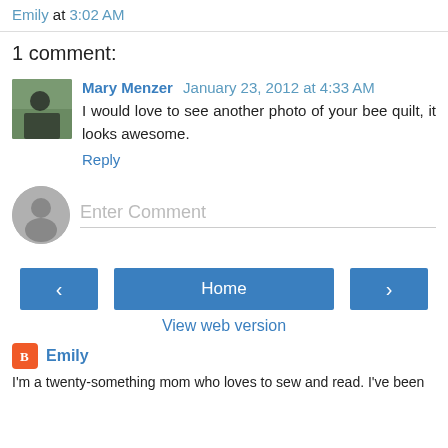Emily at 3:02 AM
1 comment:
Mary Menzer  January 23, 2012 at 4:33 AM
I would love to see another photo of your bee quilt, it looks awesome.
Reply
Enter Comment
< Home > View web version
Emily
I'm a twenty-something mom who loves to sew and read. I've been